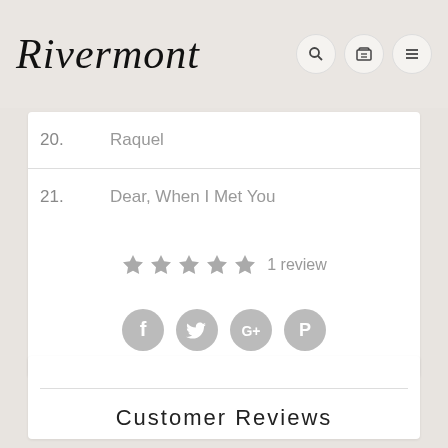Rivermont
20.    Raquel
21.    Dear, When I Met You
★★★★★ 1 review
[Figure (infographic): Social sharing icons: Facebook, Twitter, Google+, Pinterest]
Customer Reviews